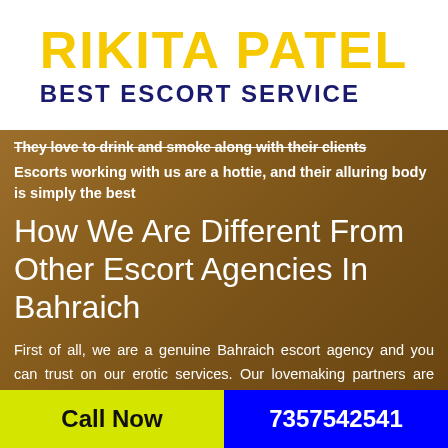RIKITA PATEL BEST ESCORT SERVICE
They love to drink and smoke along with their clients
Escorts working with us are a hottie, and their alluring body is simply the best
How We Are Different From Other Escort Agencies In Bahraich
First of all, we are a genuine Bahraich escort agency and you can trust on our erotic services. Our lovemaking partners are known for serving their elite activities to cherish some great time. Easy to hire adult dating partners are ready to relish some unforgettable memories. Get in touch with these individuals and fulfill your
Call Now  7357542541